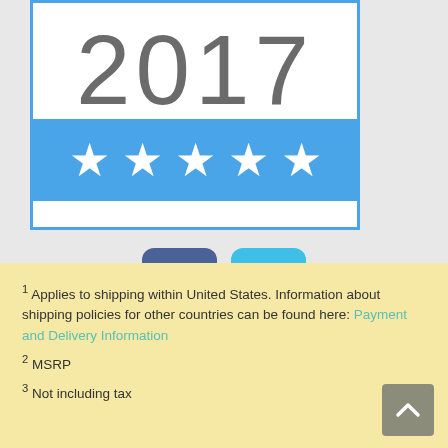[Figure (illustration): 2017 award badge with large gray '2017' text on white background and blue banner with 5 white stars below]
[Figure (illustration): Social media icons: Facebook (dark blue rounded square with 'f') and Twitter (cyan rounded square with bird icon)]
1 Applies to shipping within United States. Information about shipping policies for other countries can be found here: Payment and Delivery Information
2 MSRP
3 Not including tax